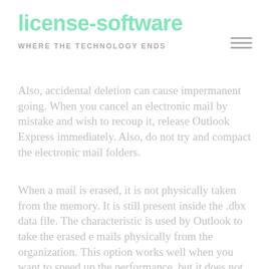license-software
Where the technology ENDS
Also, accidental deletion can cause impermanent going. When you cancel an electronic mail by mistake and wish to recoup it, release Outlook Express immediately. Also, do not try and compact the electronic mail folders.
When a mail is erased, it is not physically taken from the memory. It is still present inside the .dbx data file. The characteristic is used by Outlook to take the erased e mails physically from the organization. This option works well when you want to speed up the performance, but it does not allow the user to